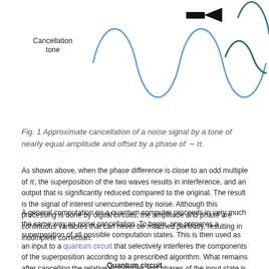[Figure (continuous-plot): Diagram showing noise cancellation waves. On the left: label 'Cancellation tone' with a blue sine wave (4 cycles). An arrow pointing right. On the right: dark teal smaller amplitude sine wave (residual). Represents approximate cancellation of noise signal.]
Fig. 1 Approximate cancellation of a noise signal by a tone of nearly equal amplitude and offset by a phase of ~ π.
As shown above, when the phase difference is close to an odd multiple of π, the superposition of the two waves results in interference, and an output that is significantly reduced compared to the original. The result is the signal of interest unencumbered by noise. Although this processing is done by digital circuits, the amplitude and phase are continuous variables that can never be matched perfectly, resulting in incomplete correction.
A general computation on a quantum computer proceeds in very much the same way as noise cancellation. To begin, one prepares a superposition of all possible computation states. This is then used as an input to a quantum circuit that selectively interferes the components of the superposition according to a prescribed algorithm. What remains after cancelling the relative amplitudes and phases of the input state is the solution to the computation performed by the quantum circuit.
Quantum circuit